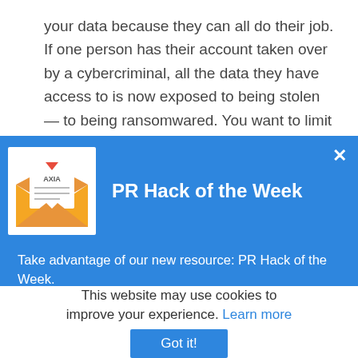your data because they can all do their job. If one person has their account taken over by a cybercriminal, all the data they have access to is now exposed to being stolen — to being ransomwared. You want to limit that exposure as
[Figure (screenshot): Blue popup modal titled 'PR Hack of the Week' with an envelope/letter icon on the left, a close X button, and body text about a weekly PR tip resource.]
Take advantage of our new resource: PR Hack of the Week.
Each week, we'll deliver a quick and free tip about news, social, and web media.
This website may use cookies to improve your experience. Learn more
Got it!